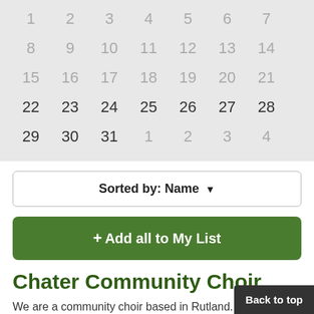[Figure (other): Calendar grid showing dates 1-31 with days 1-21 grayed out and days 22-31 shown in darker text. The bottom row shows 1,2,3,4 grayed out (next month).]
Sorted by: Name ▼
+ Add all to My List
Chater Community Choir
We are a community choir based in Rutland. We welcome anyone who simply enjoys singing. We are a fri....
Weston Road, Edith Weston, Rutland, LE15 8UU
01780 729 006